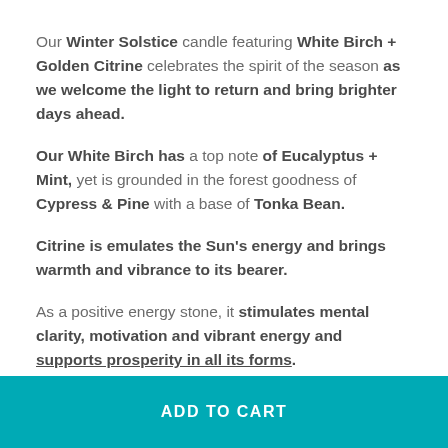Our Winter Solstice candle featuring White Birch + Golden Citrine celebrates the spirit of the season as we welcome the light to return and bring brighter days ahead.
Our White Birch has a top note of Eucalyptus + Mint, yet is grounded in the forest goodness of Cypress & Pine with a base of Tonka Bean.
Citrine is emulates the Sun's energy and brings warmth and vibrance to its bearer.
As a positive energy stone, it stimulates mental clarity, motivation and vibrant energy and supports prosperity in all its forms.
It is beloved as "the merchant's stone" and is said to
ADD TO CART